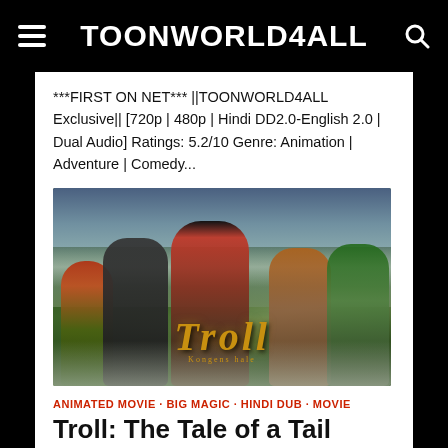TOONWORLD4ALL
***FIRST ON NET*** ||TOONWORLD4ALL Exclusive|| [720p | 480p | Hindi DD2.0-English 2.0 | Dual Audio] Ratings: 5.2/10 Genre: Animation | Adventure | Comedy...
[Figure (photo): Animated movie poster for Troll: The Tale of a Tail showing animated characters including a girl, gorilla, main hero, and two other characters with the stylized Troll logo in the center]
ANIMATED MOVIE · BIG MAGIC · HINDI DUB · MOVIE
Troll: The Tale of a Tail